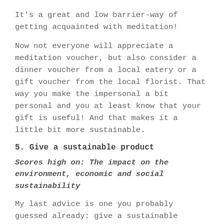It's a great and low barrier-way of getting acquainted with meditation!
Now not everyone will appreciate a meditation voucher, but also consider a dinner voucher from a local eatery or a gift voucher from the local florist. That way you make the impersonal a bit personal and you at least know that your gift is useful! And that makes it a little bit more sustainable.
5. Give a sustainable product
Scores high on: The impact on the environment, economic and social sustainability
My last advice is one you probably guessed already: give a sustainable product. Only this is easier said than done. The market is now saturated with sustainable products and sometimes you don't know where to look. But not every